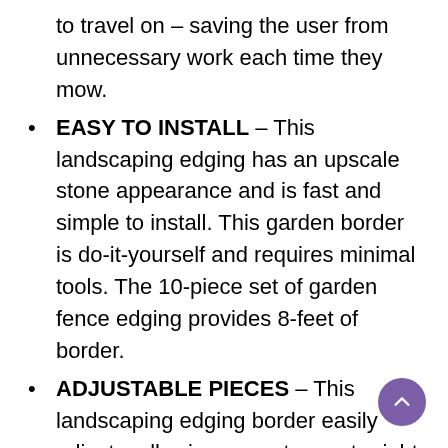to travel on – saving the user from unnecessary work each time they mow.
EASY TO INSTALL – This landscaping edging has an upscale stone appearance and is fast and simple to install. This garden border is do-it-yourself and requires minimal tools. The 10-piece set of garden fence edging provides 8-feet of border.
ADJUSTABLE PIECES – This landscaping edging border easily adjusts, allowing users to create right angles, curves, and bends, molding their gardens to their preferences. The landscape stones border evokes a natural look with a minimalist design.